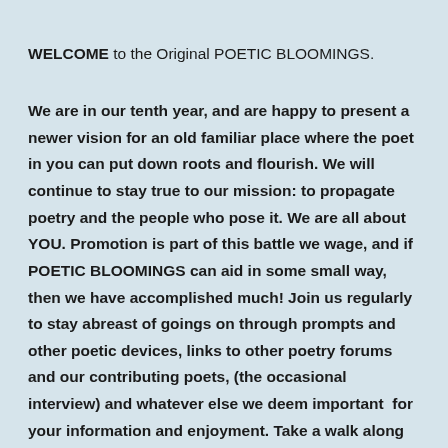WELCOME to the Original POETIC BLOOMINGS.
We are in our tenth year, and are happy to present a newer vision for an old familiar place where the poet in you can put down roots and flourish. We will continue to stay true to our mission: to propagate poetry and the people who pose it. We are all about YOU. Promotion is part of this battle we wage, and if POETIC BLOOMINGS can aid in some small way, then we have accomplished much! Join us regularly to stay abreast of goings on through prompts and other poetic devices, links to other poetry forums and our contributing poets, (the occasional interview) and whatever else we deem important  for your information and enjoyment. Take a walk along with